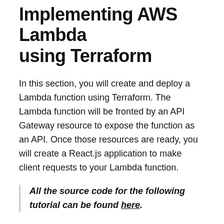Implementing AWS Lambda using Terraform
In this section, you will create and deploy a Lambda function using Terraform. The Lambda function will be fronted by an API Gateway resource to expose the function as an API. Once those resources are ready, you will create a React.js application to make client requests to your Lambda function.
All the source code for the following tutorial can be found here.
The AWS Lambda function will receive an event